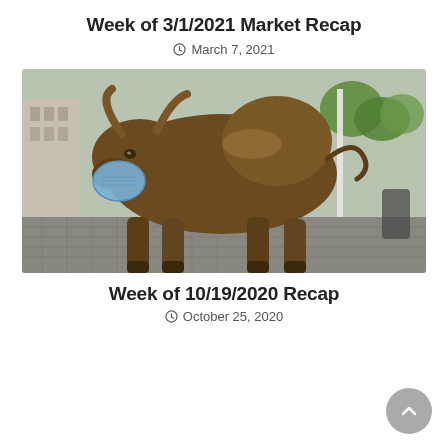Week of 3/1/2021 Market Recap
March 7, 2021
[Figure (photo): The Wall Street Charging Bull statue wearing a blue face mask, photographed outdoors on cobblestones with city buildings and trees in the background.]
Week of 10/19/2020 Recap
October 25, 2020